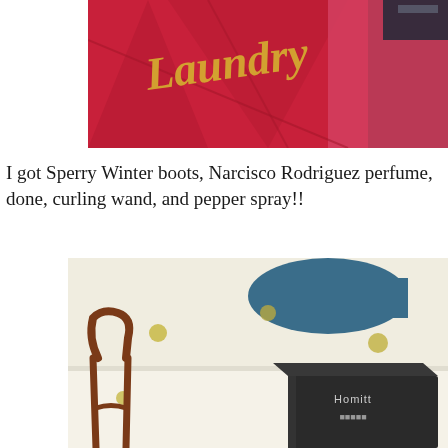[Figure (photo): A red/pink fabric item (bathrobe or towel) with cursive gold text reading 'Laundry' on it, folded on a dark surface.]
I got Sperry Winter boots, Narcisco Rodriguez perfume, done, curling wand, and pepper spray!!
[Figure (photo): A room with light walls decorated with gold/olive polka dots and a blue cloud-like shape. A wooden chair is visible on the left, and a black Homitt branded box sits on a surface in the lower right.]